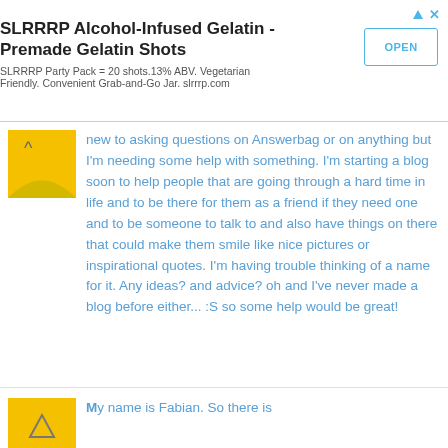[Figure (screenshot): Advertisement banner for SLRRRP Alcohol-Infused Gelatin - Premade Gelatin Shots with an OPEN button]
new to asking questions on Answerbag or on anything but I'm needing some help with something. I'm starting a blog soon to help people that are going through a hard time in life and to be there for them as a friend if they need one and to be someone to talk to and also have things on there that could make them smile like nice pictures or inspirational quotes. I'm having trouble thinking of a name for it. Any ideas? and advice? oh and I've never made a blog before either... :S so some help would be great!
My name is Fabian. So there is